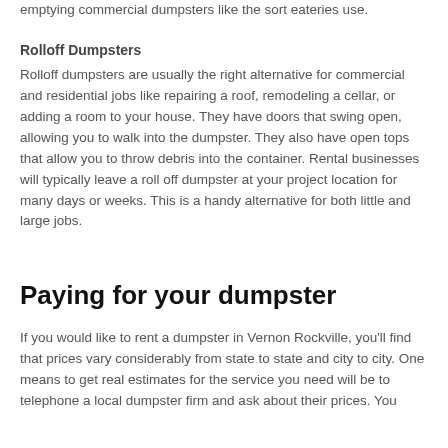emptying commercial dumpsters like the sort eateries use.
Rolloff Dumpsters
Rolloff dumpsters are usually the right alternative for commercial and residential jobs like repairing a roof, remodeling a cellar, or adding a room to your house. They have doors that swing open, allowing you to walk into the dumpster. They also have open tops that allow you to throw debris into the container. Rental businesses will typically leave a roll off dumpster at your project location for many days or weeks. This is a handy alternative for both little and large jobs.
Paying for your dumpster
If you would like to rent a dumpster in Vernon Rockville, you'll find that prices vary considerably from state to state and city to city. One means to get real estimates for the service you need will be to telephone a local dumpster firm and ask about their prices. You